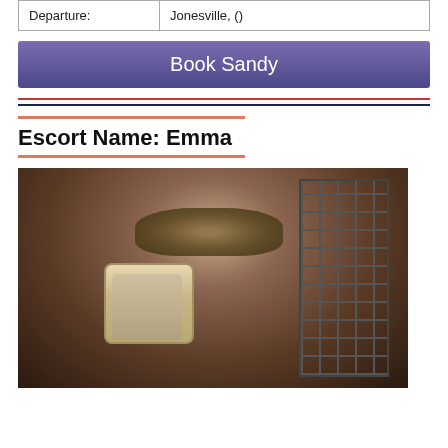| Departure: | Jonesville, () |
Book Sandy
Escort Name: Emma
[Figure (photo): Person wearing decorative masquerade mask taking a mirror selfie with a gold smartphone, with a shoji screen divider in the background.]